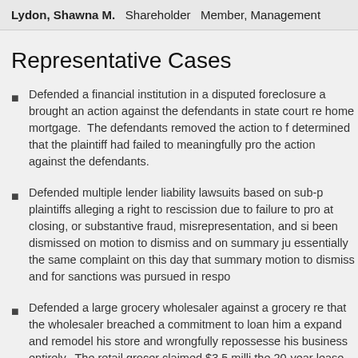Lydon, Shawna M.   Shareholder   Member, Management
Representative Cases
Defended a financial institution in a disputed foreclosure action brought an action against the defendants in state court re home mortgage. The defendants removed the action to f determined that the plaintiff had failed to meaningfully pro the action against the defendants.
Defended multiple lender liability lawsuits based on sub-p plaintiffs alleging a right to rescission due to failure to pro at closing, or substantive fraud, misrepresentation, and si been dismissed on motion to dismiss and on summary ju essentially the same complaint on this day that summary motion to dismiss and for sanctions was pursued in respo
Defended a large grocery wholesaler against a grocery re that the wholesaler breached a commitment to loan him a expand and remodel his store and wrongfully repossesse his business entirely. The retail grocer claimed $3.5 milli the 20-year lease he allegedly executed in reliance on the the evidence of his business at the end of his lease.